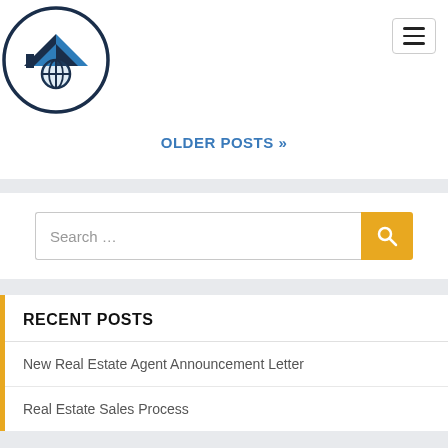[Figure (logo): Real estate website logo — a house/rooftop with a compass/globe icon inside a dark blue circle outline]
OLDER POSTS »
Search …
RECENT POSTS
New Real Estate Agent Announcement Letter
Real Estate Sales Process